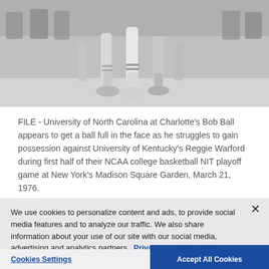[Figure (photo): Black and white archival basketball photo showing players' legs and feet on court during an NCAA game, with bench visible in background.]
FILE - University of North Carolina at Charlotte's Bob Ball appears to get a ball full in the face as he struggles to gain possession against University of Kentucky's Reggie Warford during first half of their NCAA college basketball NIT playoff game at New York's Madison Square Garden, March 21, 1976.
We use cookies to personalize content and ads, to provide social media features and to analyze our traffic. We also share information about your use of our site with our social media, advertising and analytics partners. Privacy Policy